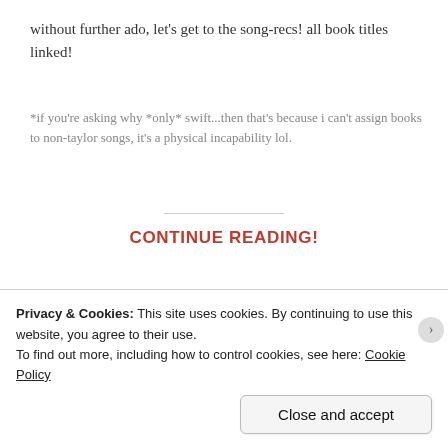without further ado, let's get to the song-recs! all book titles linked!
*if you're asking why *only* swift...then that's because i can't assign books to non-taylor songs, it's a physical incapability lol.
CONTINUE READING!
[Figure (illustration): Three circular button/spool icons centered on a dashed horizontal line, used as a decorative section divider.]
Privacy & Cookies: This site uses cookies. By continuing to use this website, you agree to their use.
To find out more, including how to control cookies, see here: Cookie Policy
Close and accept